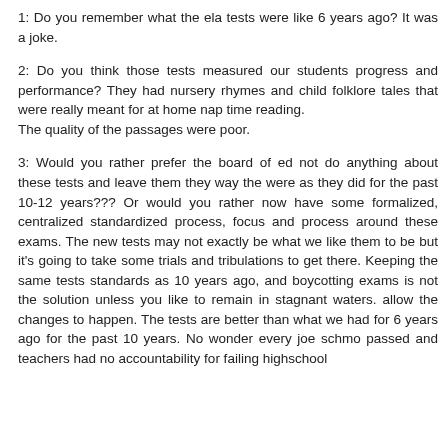1: Do you remember what the ela tests were like 6 years ago? It was a joke.
2: Do you think those tests measured our students progress and performance? They had nursery rhymes and child folklore tales that were really meant for at home nap time reading.
The quality of the passages were poor.
3: Would you rather prefer the board of ed not do anything about these tests and leave them they way the were as they did for the past 10-12 years??? Or would you rather now have some formalized, centralized standardized process, focus and process around these exams. The new tests may not exactly be what we like them to be but it's going to take some trials and tribulations to get there. Keeping the same tests standards as 10 years ago, and boycotting exams is not the solution unless you like to remain in stagnant waters. allow the changes to happen. The tests are better than what we had for 6 years ago for the past 10 years. No wonder every joe schmo passed and teachers had no accountability for failing highschool